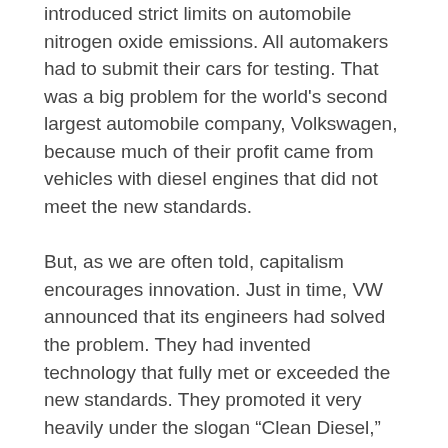introduced strict limits on automobile nitrogen oxide emissions. All automakers had to submit their cars for testing. That was a big problem for the world's second largest automobile company, Volkswagen, because much of their profit came from vehicles with diesel engines that did not meet the new standards.
But, as we are often told, capitalism encourages innovation. Just in time, VW announced that its engineers had solved the problem. They had invented technology that fully met or exceeded the new standards. They promoted it very heavily under the slogan “Clean Diesel,” and it was hugely successful. Between 2009 and 2016 Volkswagen sold over 11 million Clean Diesel cars worldwide.